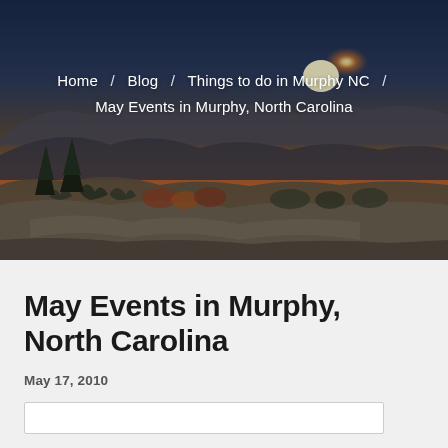[Figure (photo): Landscape photo of a mountain sunset view with pine trees, rocky terrain, and orange/red sky horizon. Serves as hero banner background.]
Home / Blog / Things to do in Murphy NC / May Events in Murphy, North Carolina
May Events in Murphy, North Carolina
May 17, 2010